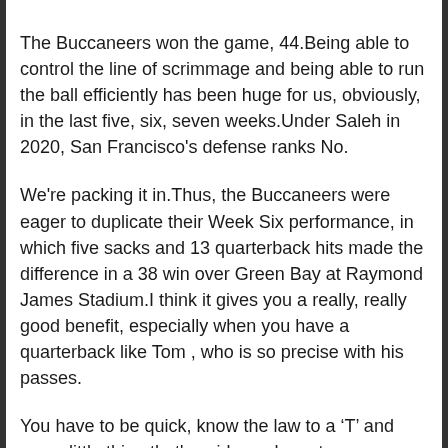The Buccaneers won the game, 44.Being able to control the line of scrimmage and being able to run the ball efficiently has been huge for us, obviously, in the last five, six, seven weeks.Under Saleh in 2020, San Francisco's defense ranks No.
We're packing it in.Thus, the Buccaneers were eager to duplicate their Week Six performance, in which five sacks and 13 quarterback hits made the difference in a 38 win over Green Bay at Raymond James Stadium.I think it gives you a really, really good benefit, especially when you have a quarterback like Tom , who is so precise with his passes.
You have to be quick, know the law to a 'T' and every little thing that's said, you have to pay attention to.I'm just paying it forward and just giving back.McDonald's Invitational-November 2016: Low-post performer with emerging back-to-basket game; defensive presence, shot blocker; rebounds and initiates fast break.Jordan's tough, he plays down low very well, you know he can tackle, he's going to hit anything that moves.
He's obviously a great young player.I've been kind of waiting for this for a long time-to get a chance to go out there with an offensive scheme that I believe in and have faith in the guys that are out there with me.The thing I didn't see coming was him scrambling for a first down.I would like this especially if